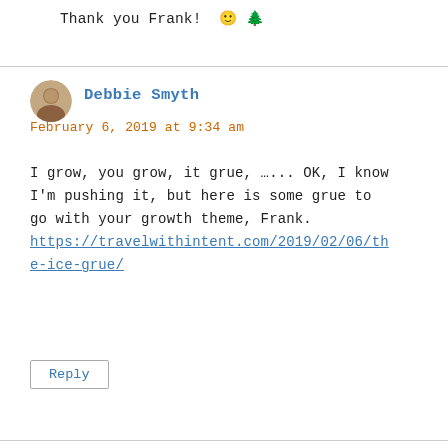Thank you Frank! 🙂 🌲
Debbie Smyth
February 6, 2019 at 9:34 am
I grow, you grow, it grue, …... OK, I know I'm pushing it, but here is some grue to go with your growth theme, Frank.
https://travelwithintent.com/2019/02/06/the-ice-grue/
Reply